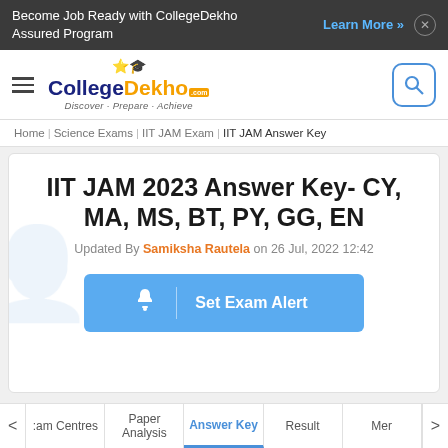Become Job Ready with CollegeDekho Assured Program  Learn More »  ✕
[Figure (logo): CollegeDekho logo with hamburger menu, star/hat icon, CollegeDekho.com text, tagline Discover · Prepare · Achieve, and search button]
Home  Science Exams  IIT JAM Exam  IIT JAM Answer Key
IIT JAM 2023 Answer Key- CY, MA, MS, BT, PY, GG, EN
Updated By Samiksha Rautela on 26 Jul, 2022 12:42
🔔  Set Exam Alert
< :am Centres  Paper Analysis  Answer Key  Result  Mer >